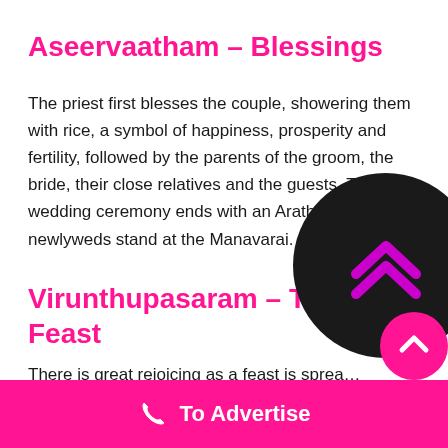Aseervaatham – Blessings
The priest first blesses the couple, showering them with rice, a symbol of happiness, prosperity and fertility, followed by the parents of the groom, the bride, their close relatives and the guests. The wedding ceremony ends with an Arathi as the newlyweds stand at the Manavarai.
Virunthupasaram – The Wedding Feast
There is great rejoicing as a feast is sprea…
[Figure (other): Dark circular button with pink upward chevron arrows, and a pink circular button with white up arrow, used as scroll/navigation UI elements]
To Advertise